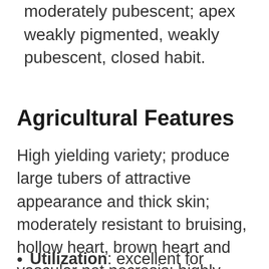moderately pubescent; apex weakly pigmented, weakly pubescent, closed habit.
Agricultural Features
High yielding variety; produce large tubers of attractive appearance and thick skin; moderately resistant to bruising, hollow heart, brown heart and vascular net necrosis; highly resistant to second growth. Medium high specific gravity. Medium dormancy period (7 months).
Utilization: excellent for boiling and